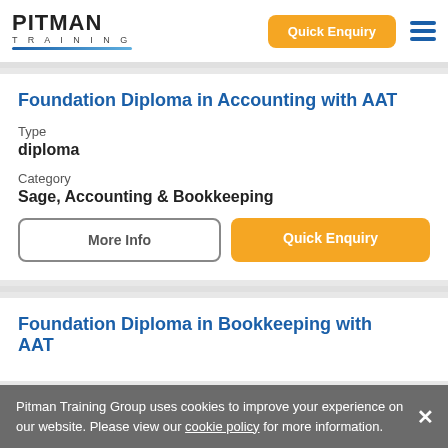PITMAN TRAINING | Quick Enquiry
Foundation Diploma in Accounting with AAT
Type
diploma
Category
Sage, Accounting & Bookkeeping
More Info | Quick Enquiry
Foundation Diploma in Bookkeeping with AAT
Pitman Training Group uses cookies to improve your experience on our website. Please view our cookie policy for more information.